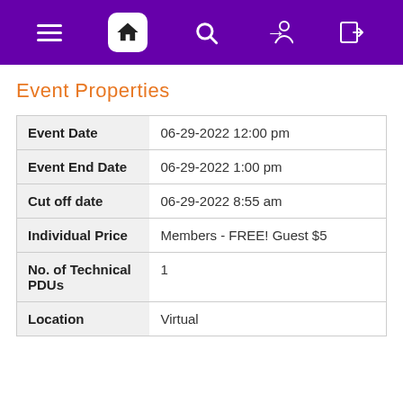Navigation bar with hamburger menu, home, search, and login icons
Event Properties
|  |  |
| --- | --- |
| Event Date | 06-29-2022 12:00 pm |
| Event End Date | 06-29-2022 1:00 pm |
| Cut off date | 06-29-2022 8:55 am |
| Individual Price | Members - FREE! Guest $5 |
| No. of Technical PDUs | 1 |
| Location | Virtual |